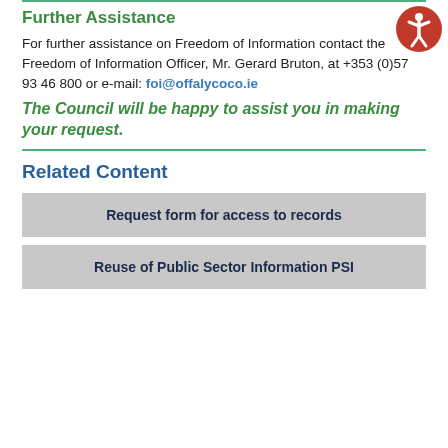Further Assistance
For further assistance on Freedom of Information contact the Freedom of Information Officer, Mr. Gerard Bruton, at +353 (0)57 93 46 800 or e-mail: foi@offalycoco.ie
The Council will be happy to assist you in making your request.
Related Content
Request form for access to records
Reuse of Public Sector Information PSI